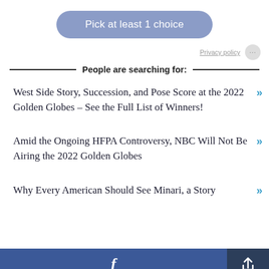Pick at least 1 choice
Privacy policy
People are searching for:
West Side Story, Succession, and Pose Score at the 2022 Golden Globes – See the Full List of Winners!
Amid the Ongoing HFPA Controversy, NBC Will Not Be Airing the 2022 Golden Globes
Why Every American Should See Minari, a Story
Facebook share | Share